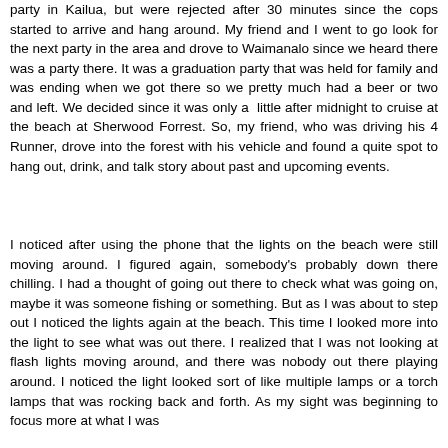party in Kailua, but were rejected after 30 minutes since the cops started to arrive and hang around. My friend and I went to go look for the next party in the area and drove to Waimanalo since we heard there was a party there. It was a graduation party that was held for family and was ending when we got there so we pretty much had a beer or two and left. We decided since it was only a little after midnight to cruise at the beach at Sherwood Forrest. So, my friend, who was driving his 4 Runner, drove into the forest with his vehicle and found a quite spot to hang out, drink, and talk story about past and upcoming events.
I noticed after using the phone that the lights on the beach were still moving around. I figured again, somebody's probably down there chilling. I had a thought of going out there to check what was going on, maybe it was someone fishing or something. But as I was about to step out I noticed the lights again at the beach. This time I looked more into the light to see what was out there. I realized that I was not looking at flash lights moving around, and there was nobody out there playing around. I noticed the light looked sort of like multiple lamps or a torch lamps that was rocking back and forth. As my sight was beginning to focus more at what I was